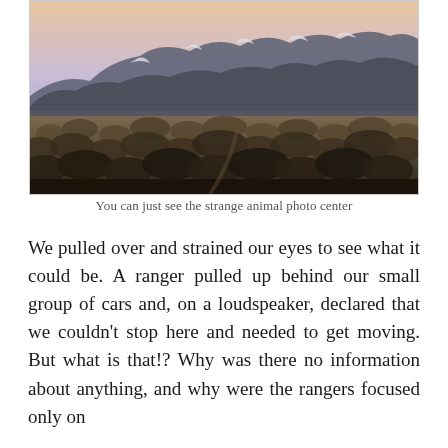[Figure (photo): Landscape photograph showing a wide open scrubland or desert terrain with dry brush in the foreground and snow-capped rocky hills or mountains in the background under a pale dusk or dawn sky.]
You can just see the strange animal photo center
We pulled over and strained our eyes to see what it could be. A ranger pulled up behind our small group of cars and, on a loudspeaker, declared that we couldn't stop here and needed to get moving. But what is that!? Why was there no information about anything, and why were the rangers focused only on